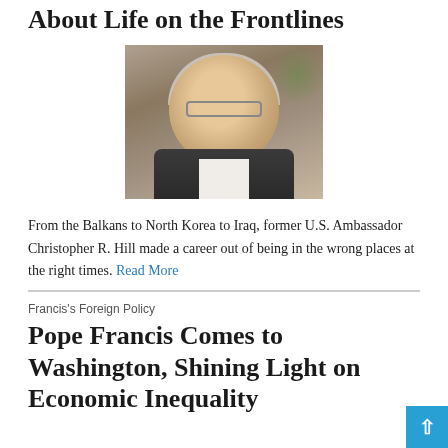About Life on the Frontlines
[Figure (photo): Portrait photo of former U.S. Ambassador Christopher R. Hill, an older man with white/grey hair, glasses, wearing a dark suit and white shirt, with green foliage in the background.]
From the Balkans to North Korea to Iraq, former U.S. Ambassador Christopher R. Hill made a career out of being in the wrong places at the right times. Read More
Francis's Foreign Policy
Pope Francis Comes to Washington, Shining Light on Economic Inequality